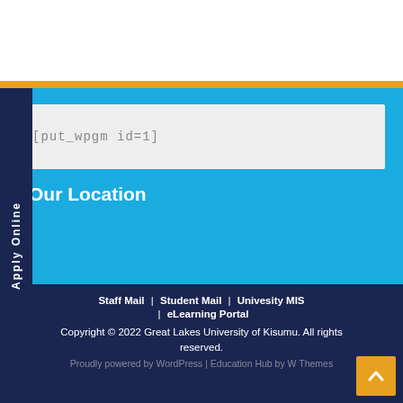[Figure (other): White top section of webpage]
[put_wpgm id=1]
Our Location
Staff Mail | Student Mail | Univesity MIS | eLearning Portal
Copyright © 2022 Great Lakes University of Kisumu. All rights reserved.
Proudly powered by WordPress | Education Hub by WP Themes
Apply Online